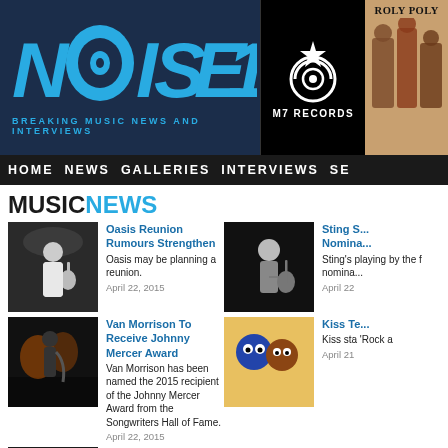[Figure (logo): Noise11 logo - Breaking Music News and Interviews with M7 Records and Roly Poly banner]
HOME NEWS GALLERIES INTERVIEWS SE
MUSIC NEWS
[Figure (photo): Musician playing guitar on stage - Oasis article thumbnail]
Oasis Reunion Rumours Strengthen
Oasis may be planning a reunion.
April 22, 2015
[Figure (photo): Sting playing guitar on stage]
Sting S... Nomina...
Sting's playing by the f nomination
April 22
[Figure (photo): Saxophone player on dark stage - Van Morrison article thumbnail]
Van Morrison To Receive Johnny Mercer Award
Van Morrison has been named the 2015 recipient of the Johnny Mercer Award from the Songwriters Hall of Fame.
April 22, 2015
[Figure (photo): Kiss animated cartoon characters - Kiss Te... article thumbnail]
Kiss Te...
Kiss sta 'Rock a
April 21
[Figure (photo): Drummer performing - Santana IV article thumbnail]
Santana IV With Neal Schon Almost Completed
According to Neal Schon, Santana IV, the long anticipated reunion album for the original members of Santana, will be finished by the end
[Figure (logo): Triple J radio logo - red devil mascot]
Triple J Melbo...
The AB one rad 39 year